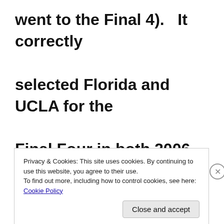went to the Final 4).   It correctly selected Florida and UCLA for the Final Four in both 2006 and 2007.  There have been a couple of seasons where the criteria didn't apply
Privacy & Cookies: This site uses cookies. By continuing to use this website, you agree to their use.
To find out more, including how to control cookies, see here: Cookie Policy